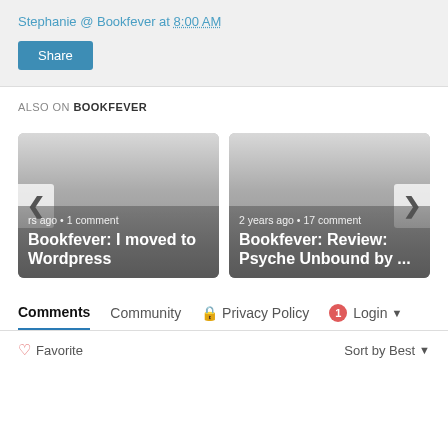Stephanie @ Bookfever at 8:00 AM
Share
ALSO ON BOOKFEVER
[Figure (screenshot): Card: years ago • 1 comment — Bookfever: I moved to Wordpress]
[Figure (screenshot): Card: 2 years ago • 17 comments — Bookfever: Review: Psyche Unbound by ...]
Comments  Community  Privacy Policy  1  Login
Favorite  Sort by Best